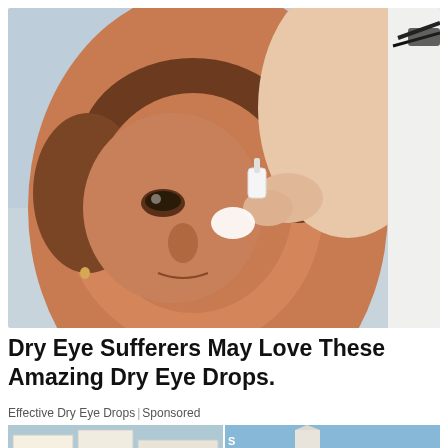[Figure (photo): A middle-aged woman with short brown hair tilting her head back while a healthcare professional in a white coat applies eye drops to her right eye. The professional is wearing glasses and is partially visible from the right side of the frame.]
Dry Eye Sufferers May Love These Amazing Dry Eye Drops.
Effective Dry Eye Drops | Sponsored
[Figure (photo): Two small thumbnail images side by side at the bottom. Left image shows protest signs including text 'Only Jobs', 'Profit 5n', and partial text. Right image shows what appears to be a landmark or monument with blue sky.]